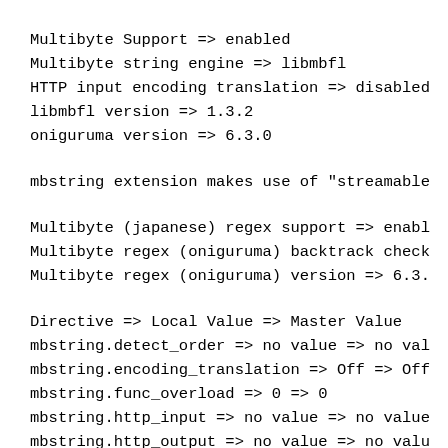Multibyte Support => enabled
Multibyte string engine => libmbfl
HTTP input encoding translation => disabled
libmbfl version => 1.3.2
oniguruma version => 6.3.0
mbstring extension makes use of "streamable
Multibyte (japanese) regex support => enabl
Multibyte regex (oniguruma) backtrack check
Multibyte regex (oniguruma) version => 6.3.
Directive => Local Value => Master Value
mbstring.detect_order => no value => no val
mbstring.encoding_translation => Off => Off
mbstring.func_overload => 0 => 0
mbstring.http_input => no value => no value
mbstring.http_output => no value => no valu